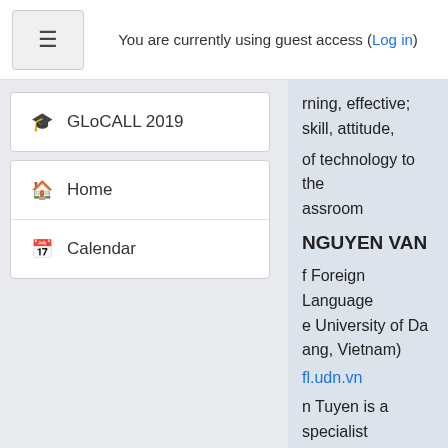You are currently using guest access (Log in)
🎓 GLoCALL 2019
🏠 Home
📅 Calendar
rning, effective; skill, attitude,
of technology to the assroom
NGUYEN VAN
f Foreign Language e University of Da ang, Vietnam)
fl.udn.vn
n Tuyen is a specialist CT in ELT application nal Foreign Project 2020, / the Ministry of